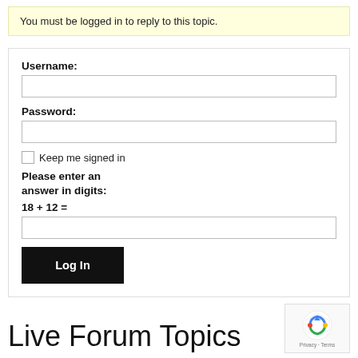You must be logged in to reply to this topic.
Username:
Password:
Keep me signed in
Please enter an answer in digits:
Log In
Live Forum Topics
[Figure (logo): reCAPTCHA badge with Privacy and Terms links]